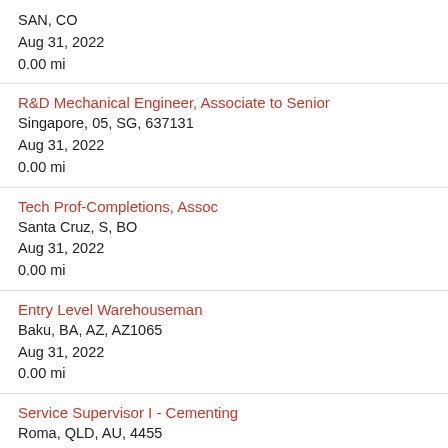SAN, CO
Aug 31, 2022
0.00 mi
R&D Mechanical Engineer, Associate to Senior
Singapore, 05, SG, 637131
Aug 31, 2022
0.00 mi
Tech Prof-Completions, Assoc
Santa Cruz, S, BO
Aug 31, 2022
0.00 mi
Entry Level Warehouseman
Baku, BA, AZ, AZ1065
Aug 31, 2022
0.00 mi
Service Supervisor I - Cementing
Roma, QLD, AU, 4455
Aug 31, 2022